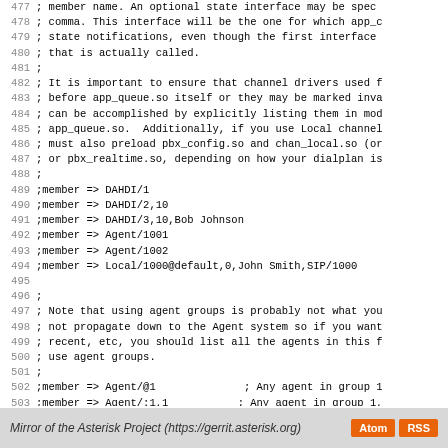477 ; member name. An optional state interface may be speci
478 ; comma. This interface will be the one for which app_c
479 ; state notifications, even though the first interface
480 ; that is actually called.
481 ;
482 ; It is important to ensure that channel drivers used f
483 ; before app_queue.so itself or they may be marked inva
484 ; can be accomplished by explicitly listing them in mod
485 ; app_queue.so.  Additionally, if you use Local channel
486 ; must also preload pbx_config.so and chan_local.so (or
487 ; or pbx_realtime.so, depending on how your dialplan is
488 ;
489 ;member => DAHDI/1
490 ;member => DAHDI/2,10
491 ;member => DAHDI/3,10,Bob Johnson
492 ;member => Agent/1001
493 ;member => Agent/1002
494 ;member => Local/1000@default,0,John Smith,SIP/1000
495
496 ;
497 ; Note that using agent groups is probably not what you
498 ; not propagate down to the Agent system so if you want
499 ; recent, etc, you should list all the agents in this f
500 ; use agent groups.
501 ;
502 ;member => Agent/@1              ; Any agent in group 1
503 ;member => Agent/:1,1            ; Any agent in group 1,
504                                  ; available, but consid
505
Mirror of the Asterisk Project (https://gerrit.asterisk.org)